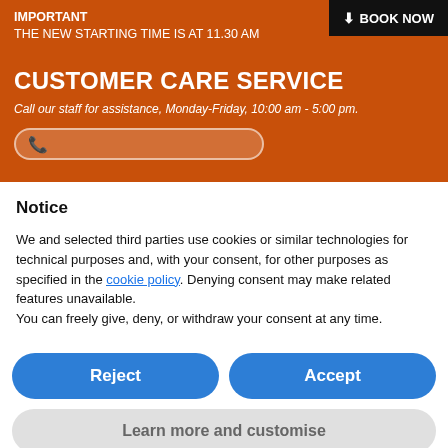IMPORTANT
THE NEW STARTING TIME IS AT 11.30 AM
CUSTOMER CARE SERVICE
Call our staff for assistance, Monday-Friday, 10:00 am - 5:00 pm.
Notice
We and selected third parties use cookies or similar technologies for technical purposes and, with your consent, for other purposes as specified in the cookie policy. Denying consent may make related features unavailable.
You can freely give, deny, or withdraw your consent at any time.
Reject
Accept
Learn more and customise